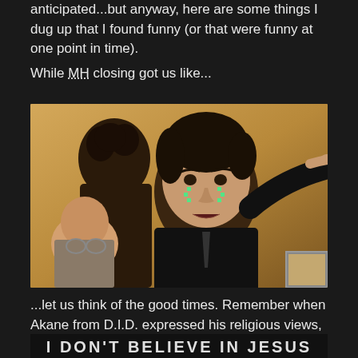anticipated...but anyway, here are some things I dug up that I found funny (or that were funny at one point in time).
While MH closing got us like...
[Figure (photo): Photo/meme of a man in a black outfit appearing to cry with green pixelated tears on his face, pointing with one arm, with other people visible behind him. The background is warm brownish-orange.]
...let us think of the good times. Remember when Akane from D.I.D. expressed his religious views, even tho nobody asked?
[Figure (photo): Bottom banner image with bold text reading 'I DON'T BELIEVE IN JESUS' or similar in large white/grey letters on dark background, partially visible at bottom of page.]